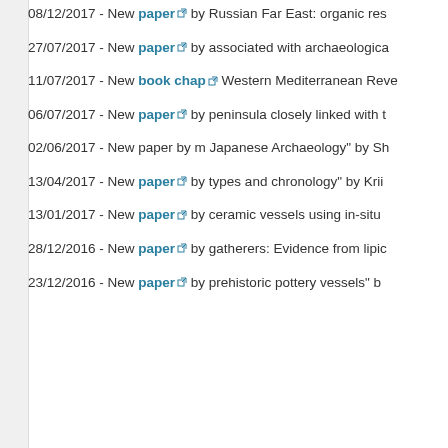08/12/2017 - New paper by ... Russian Far East: organic res...
27/07/2017 - New paper by ... associated with archaeologica...
11/07/2017 - New book chap... Western Mediterranean Reve...
06/07/2017 - New paper by ... peninsula closely linked with t...
02/06/2017 - New paper by m... Japanese Archaeology" by Sh...
13/04/2017 - New paper by ... types and chronology" by Krii...
13/01/2017 - New paper by ... ceramic vessels using in-situ ...
28/12/2016 - New paper by ... gatherers: Evidence from lipio...
23/12/2016 - New paper by ... prehistoric pottery vessels" b...